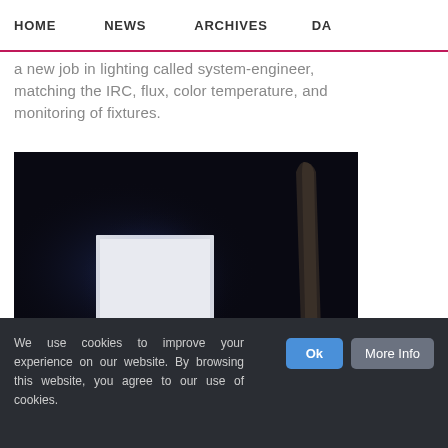HOME   NEWS   ARCHIVES   DA...
a new job in lighting called system-engineer, matching the IRC, flux, color temperature, and monitoring of fixtures.
[Figure (photo): Dark background product photo showing a glowing white square LED panel fixture on the left and a dark cylindrical/elongated lighting fixture on the right]
We use cookies to improve your experience on our website. By browsing this website, you agree to our use of cookies.